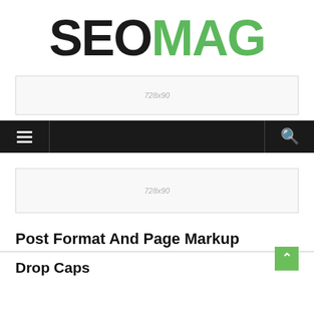[Figure (logo): SEOMAG logo with SEO in black bold and MAG in green bold large text]
[Figure (other): 728x90 advertisement placeholder banner, light gray background with border]
[Figure (other): Navigation bar, black background with hamburger menu icon on left and search icon on right]
[Figure (other): 728x90 advertisement placeholder banner, light gray background with border]
Post Format And Page Markup
Drop Caps